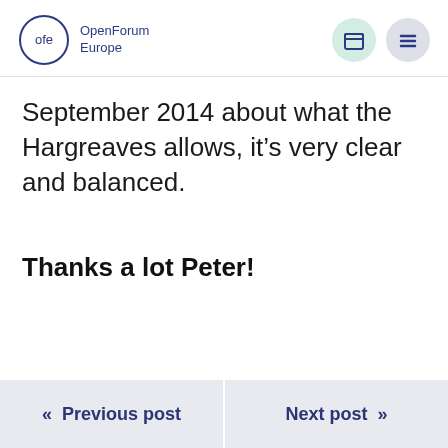ofe OpenForum Europe
September 2014 about what the Hargreaves allows, it's very clear and balanced.
Thanks a lot Peter!
« Previous post   Next post »